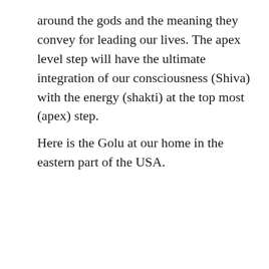around the gods and the meaning they convey for leading our lives. The apex level step will have the ultimate integration of our consciousness (Shiva) with the energy (shakti) at the top most (apex) step.
Here is the Golu at our home in the eastern part of the USA.